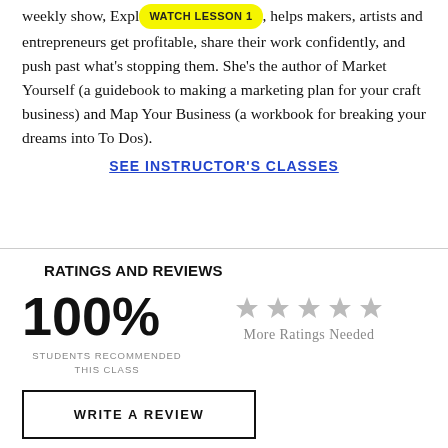weekly show, Explore Your Enthusiasm, helps makers, artists and entrepreneurs get profitable, share their work confidently, and push past what's stopping them. She's the author of Market Yourself (a guidebook to making a marketing plan for your craft business) and Map Your Business (a workbook for breaking your dreams into To Dos).
SEE INSTRUCTOR'S CLASSES
RATINGS AND REVIEWS
100%
STUDENTS RECOMMENDED THIS CLASS
More Ratings Needed
WRITE A REVIEW